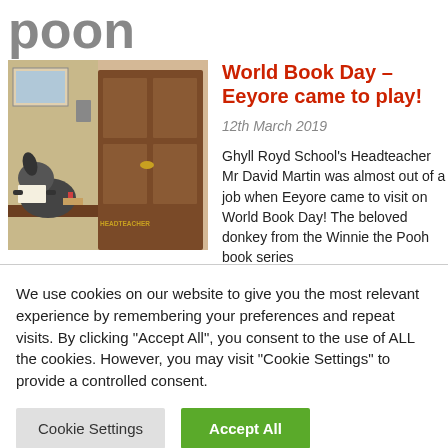poon
[Figure (photo): Photo of Eeyore donkey costume sitting at a headteacher's desk behind a door labeled HEADTEACHER]
World Book Day – Eeyore came to play!
12th March 2019
Ghyll Royd School's Headteacher Mr David Martin was almost out of a job when Eeyore came to visit on World Book Day! The beloved donkey from the Winnie the Pooh book series
We use cookies on our website to give you the most relevant experience by remembering your preferences and repeat visits. By clicking "Accept All", you consent to the use of ALL the cookies. However, you may visit "Cookie Settings" to provide a controlled consent.
Cookie Settings
Accept All